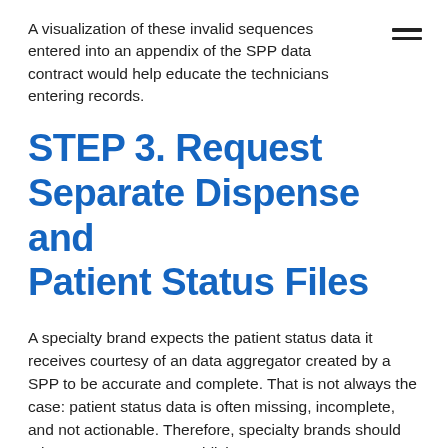A visualization of these invalid sequences entered into an appendix of the SPP data contract would help educate the technicians entering records.
STEP 3. Request Separate Dispense and Patient Status Files
A specialty brand expects the patient status data it receives courtesy of an data aggregator created by a SPP to be accurate and complete. That is not always the case: patient status data is often missing, incomplete, and not actionable. Therefore, specialty brands should take an extra step to establish a source